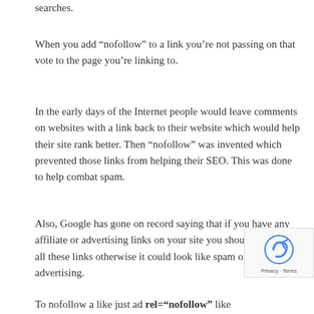searches.
When you add “nofollow” to a link you’re not passing on that vote to the page you’re linking to.
In the early days of the Internet people would leave comments on websites with a link back to their website which would help their site rank better. Then “nofollow” was invented which prevented those links from helping their SEO. This was done to help combat spam.
Also, Google has gone on record saying that if you have any affiliate or advertising links on your site you should nofollow all these links otherwise it could look like spam or paid advertising.
To nofollow a like just ad rel=“nofollow” like